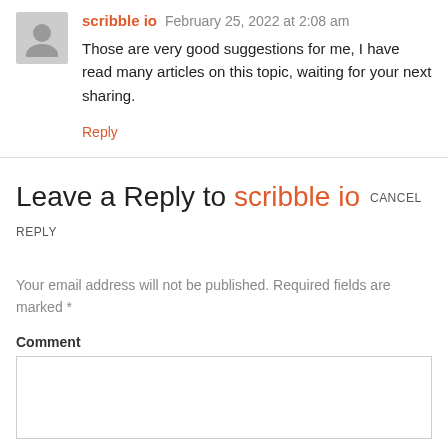scribble io  February 25, 2022 at 2:08 am
Those are very good suggestions for me, I have read many articles on this topic, waiting for your next sharing.
Reply
Leave a Reply to scribble io  CANCEL REPLY
Your email address will not be published. Required fields are marked *
Comment